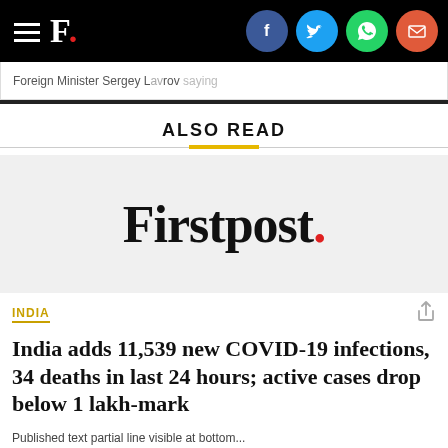F. [Firstpost logo with social share icons: Facebook, Twitter, WhatsApp, Email]
Foreign Minister Sergey [Lavrov saying]
ALSO READ
[Figure (logo): Firstpost logo on grey background]
INDIA
India adds 11,539 new COVID-19 infections, 34 deaths in last 24 hours; active cases drop below 1 lakh-mark
Published text partial line...